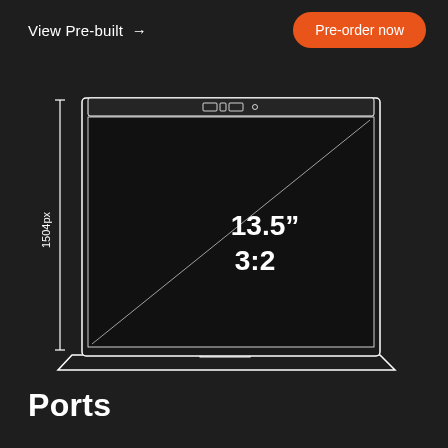View Pre-built →
Pre-order now
[Figure (engineering-diagram): Line drawing of a laptop (front view) with a diagonal measurement line from top-right to bottom-left of the screen area. The screen shows '13.5″' and '3:2' in the center. A vertical dimension line on the left side of the laptop indicates the height as '1504px'. The laptop has a small bezel with camera/status indicators at the top.]
Ports